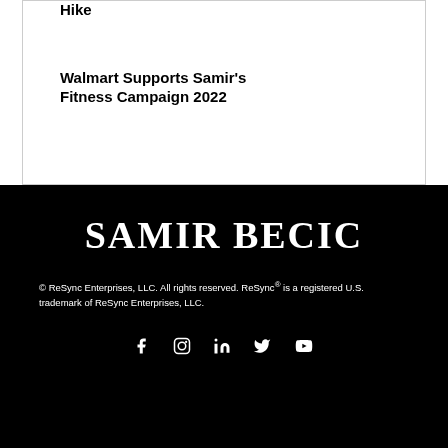Hike
Walmart Supports Samir's Fitness Campaign 2022
SAMIR BECIC
© ReSync Enterprises, LLC. All rights reserved. ReSync® is a registered U.S. trademark of ReSync Enterprises, LLC.
[Figure (infographic): Social media icons: Facebook, Instagram, LinkedIn, Twitter, YouTube]